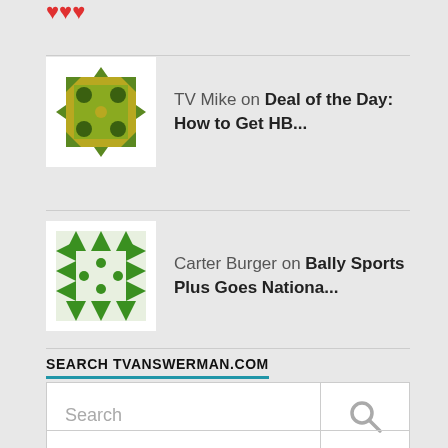[Figure (logo): Partial red logo at top]
TV Mike on Deal of the Day: How to Get HB...
Carter Burger on Bally Sports Plus Goes Nationa...
SEARCH TVANSWERMAN.COM
[Figure (screenshot): Search box with Search placeholder text and magnifying glass icon]